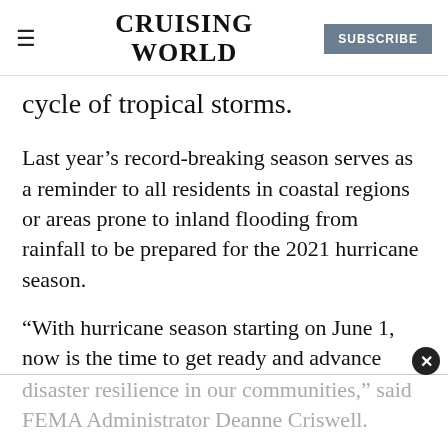CRUISING WORLD | SUBSCRIBE
cycle of tropical storms.
Last year’s record-breaking season serves as a reminder to all residents in coastal regions or areas prone to inland flooding from rainfall to be prepared for the 2021 hurricane season.
“With hurricane season starting on June 1, now is the time to get ready and advance disaster resilience in our communities,” said FEMA Administrator Deanne Criswell.